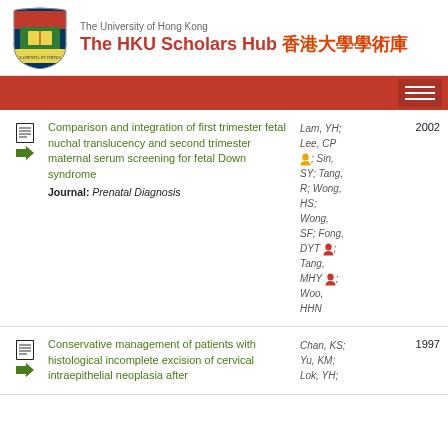The University of Hong Kong — The HKU Scholars Hub 香港大學學術庫
Comparison and integration of first trimester fetal nuchal translucency and second trimester maternal serum screening for fetal Down syndrome. Journal: Prenatal Diagnosis. Authors: Lam, YH; Lee, CP; Sin, SY; Tang, R; Wong, HS; Wong, SF; Fong, DYT; Tang, MHY; Woo, HHN. Year: 2002
Conservative management of patients with histological incomplete excision of cervical intraepithelial neoplasia after. Authors: Chan, KS; Yu, KM; Lok, YH; Year: 1997